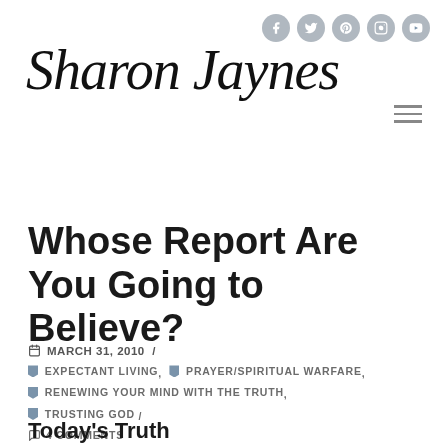Sharon Jaynes — social media icons: Facebook, Twitter, Pinterest, Instagram, YouTube
Whose Report Are You Going to Believe?
MARCH 31, 2010 / EXPECTANT LIVING, PRAYER/SPIRITUAL WARFARE, RENEWING YOUR MIND WITH THE TRUTH, TRUSTING GOD / 4 COMMENTS
Today's Truth